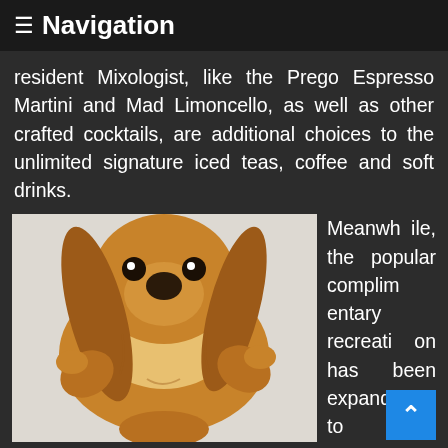≡ Navigation
resident Mixologist, like the Prego Espresso Martini and Mad Limoncello, as well as other crafted cocktails, are additional choices to the unlimited signature iced teas, coffee and soft drinks.
[Figure (photo): A golden/brown cocker spaniel puppy photographed from above, lying on its back with paws up, looking up at the camera, on a light background.]
Meanwhile, the popular complimentary recreation has been expanded to embrace both crafty and energizing activities. Make your way to Prego for a memorable Sunday from 11:30AM to